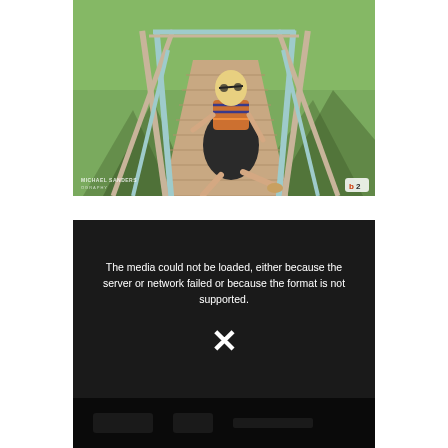[Figure (photo): Outdoor photo of a blonde woman sitting on a wooden bridge/walkway structure with blue-painted railings and diagonal wooden supports, casting shadows on grass. Photo has watermark 'MICHAEL SANDERS PHOTOGRAPHY' at bottom left.]
[Figure (other): Dark video player error screen with white text reading 'The media could not be loaded, either because the server or network failed or because the format is not supported.' with a white X icon below.]